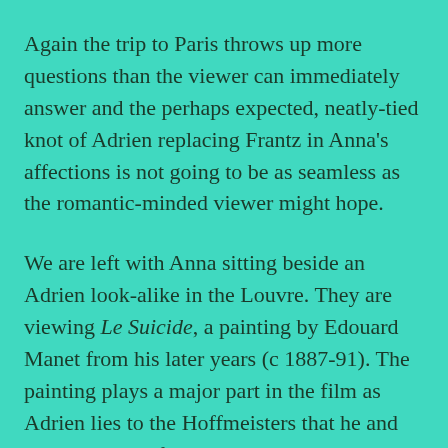Again the trip to Paris throws up more questions than the viewer can immediately answer and the perhaps expected, neatly-tied knot of Adrien replacing Frantz in Anna's affections is not going to be as seamless as the romantic-minded viewer might hope.
We are left with Anna sitting beside an Adrien look-alike in the Louvre. They are viewing Le Suicide, a painting by Edouard Manet from his later years (c 1887-91). The painting plays a major part in the film as Adrien lies to the Hoffmeisters that he and Frantz would often go to the gallery where their son particularly liked a painting of a young man whose body is thrown back on a bed.